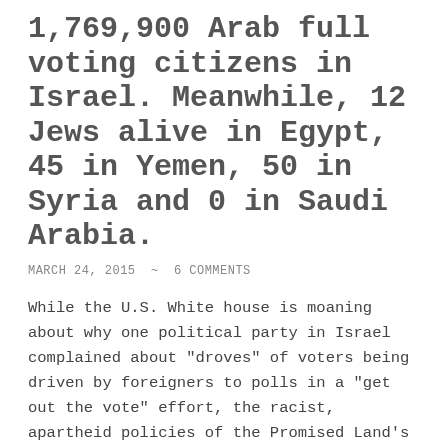1,769,900 Arab full voting citizens in Israel. Meanwhile, 12 Jews alive in Egypt, 45 in Yemen, 50 in Syria and 0 in Saudi Arabia.
MARCH 24, 2015  ~  6 COMMENTS
While the U.S. White house is moaning about why one political party in Israel complained about "droves" of voters being driven by foreigners to polls in a "get out the vote" effort, the racist, apartheid policies of the Promised Land's neighbors go unspoken. Forgetting Gaza and the West Bank - where there have been no …
Continue reading